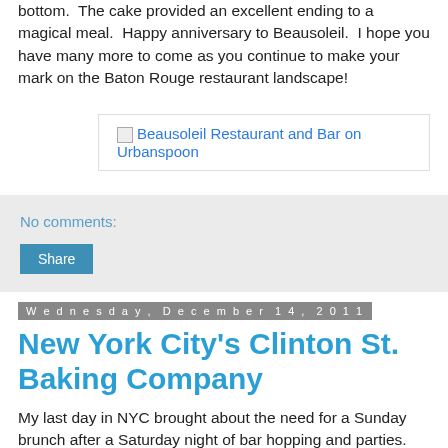bottom.  The cake provided an excellent ending to a magical meal.  Happy anniversary to Beausoleil.  I hope you have many more to come as you continue to make your mark on the Baton Rouge restaurant landscape!
[Figure (screenshot): Broken image link for Beausoleil Restaurant and Bar on Urbanspoon]
No comments:
Share
Wednesday, December 14, 2011
New York City's Clinton St. Baking Company
My last day in NYC brought about the need for a Sunday brunch after a Saturday night of bar hopping and parties.  Molly and I found the Clinton St. Baking Company on Manhattan's Lower East Side and thought it looked like a spectacular option!  The cozy little cafe and bakery was